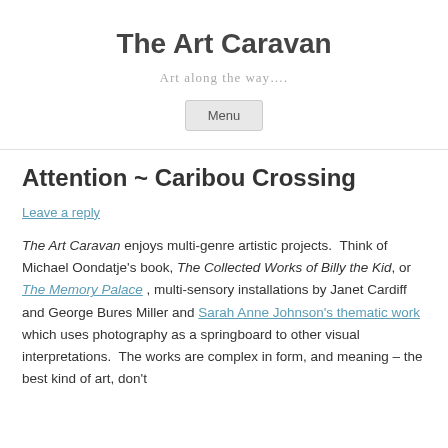The Art Caravan
Art along the way….
Menu
Attention ~ Caribou Crossing
Leave a reply
The Art Caravan enjoys multi-genre artistic projects.  Think of Michael Oondatje's book, The Collected Works of Billy the Kid, or The Memory Palace , multi-sensory installations by Janet Cardiff and George Bures Miller and Sarah Anne Johnson's thematic work which uses photography as a springboard to other visual interpretations.  The works are complex in form, and meaning – the best kind of art, don't